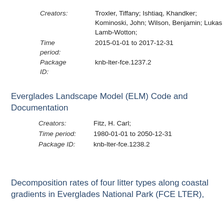Creators: Troxler, Tiffany; Ishtiaq, Khandker; Kominoski, John; Wilson, Benjamin; Lukas Lamb-Wotton;
Time period: 2015-01-01 to 2017-12-31
Package ID: knb-lter-fce.1237.2
Everglades Landscape Model (ELM) Code and Documentation
Creators: Fitz, H. Carl;
Time period: 1980-01-01 to 2050-12-31
Package ID: knb-lter-fce.1238.2
Decomposition rates of four litter types along coastal gradients in Everglades National Park (FCE LTER),